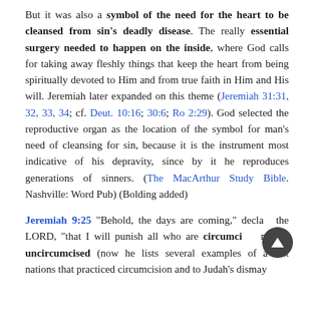But it was also a symbol of the need for the heart to be cleansed from sin's deadly disease. The really essential surgery needed to happen on the inside, where God calls for taking away fleshly things that keep the heart from being spiritually devoted to Him and from true faith in Him and His will. Jeremiah later expanded on this theme (Jeremiah 31:31, 32, 33, 34; cf. Deut. 10:16; 30:6; Ro 2:29). God selected the reproductive organ as the location of the symbol for man's need of cleansing for sin, because it is the instrument most indicative of his depravity, since by it he reproduces generations of sinners. (The MacArthur Study Bible. Nashville: Word Pub) (Bolding added)
Jeremiah 9:25 "Behold, the days are coming," declares the LORD, "that I will punish all who are circumcised and yet uncircumcised (now he lists several examples of ancient nations that practiced circumcision and to Judah's dismay